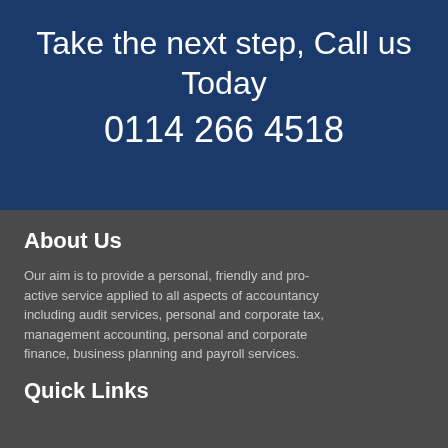Take the next step, Call us Today
0114 266 4518
About Us
Our aim is to provide a personal, friendly and pro-active service applied to all aspects of accountancy including audit services, personal and corporate tax, management accounting, personal and corporate finance, business planning and payroll services.
Quick Links